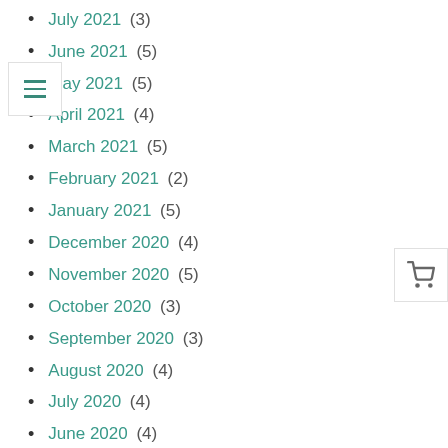July 2021 (3)
June 2021 (5)
May 2021 (5)
April 2021 (4)
March 2021 (5)
February 2021 (2)
January 2021 (5)
December 2020 (4)
November 2020 (5)
October 2020 (3)
September 2020 (3)
August 2020 (4)
July 2020 (4)
June 2020 (4)
May 2020 (3)
April 2020 (4)
March 2020 (5)